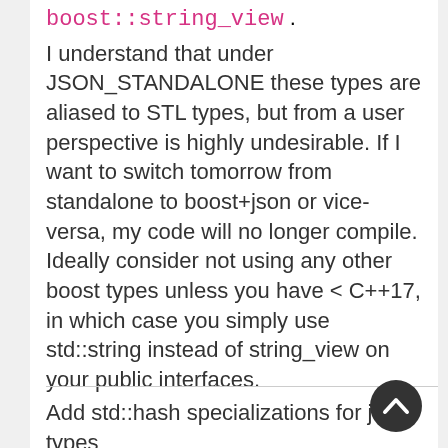boost::string_view .
I understand that under JSON_STANDALONE these types are aliased to STL types, but from a user perspective is highly undesirable. If I want to switch tomorrow from standalone to boost+json or vice-versa, my code will no longer compile. Ideally consider not using any other boost types unless you have < C++17, in which case you simply use std::string instead of string_view on your public interfaces.
Add std::hash specializations for json types